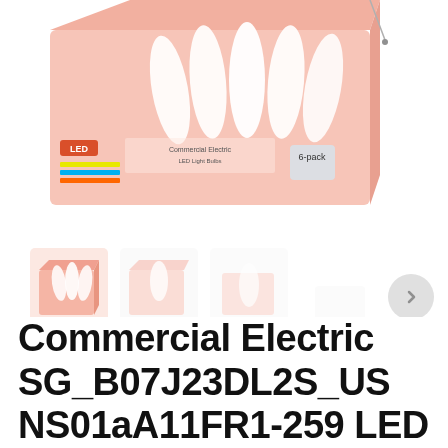[Figure (photo): Product photo showing a pink/salmon colored box of Commercial Electric LED bulbs. The main large image shows the box from a top-angled perspective with white LED bulbs visible. Below are thumbnail images: one smaller pink box thumbnail on the left, and faded/ghosted additional angle thumbnails to the right.]
Commercial Electric SG_B07J23DL2S_US NS01aA11FR1-259 LED